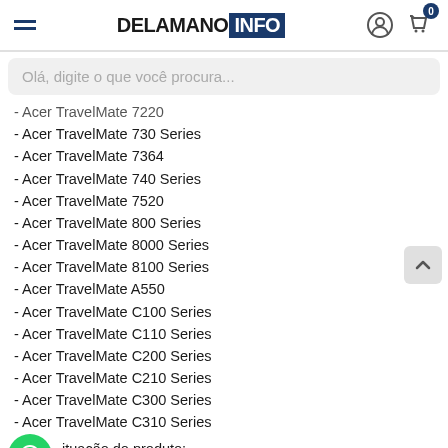DELAMANO INFO
Olá, digite o que você procura...
- Acer TravelMate 7220
- Acer TravelMate 730 Series
- Acer TravelMate 7364
- Acer TravelMate 740 Series
- Acer TravelMate 7520
- Acer TravelMate 800 Series
- Acer TravelMate 8000 Series
- Acer TravelMate 8100 Series
- Acer TravelMate A550
- Acer TravelMate C100 Series
- Acer TravelMate C110 Series
- Acer TravelMate C200 Series
- Acer TravelMate C210 Series
- Acer TravelMate C300 Series
- Acer TravelMate C310 Series
ituação do produto:
- Usado
- Compatível também com...